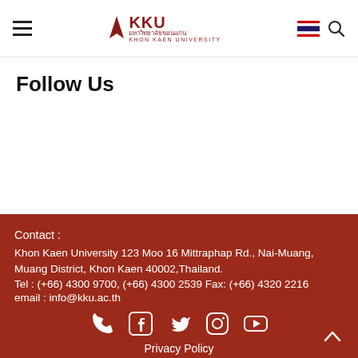KKU Khon Kaen University navigation bar
Follow Us
Contact :
Khon Kaen University 123 Moo 16 Mittraphap Rd., Nai-Muang, Muang District, Khon Kaen 40002,Thailand.
Tel : (+66) 4300 9700, (+66) 4300 2539 Fax: (+66) 4320 2216
email : info@kku.ac.th
[Figure (other): Social media icons: phone, facebook, twitter, instagram, youtube]
Privacy Policy